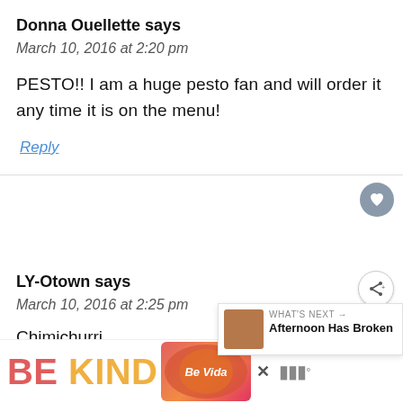Donna Ouellette says
March 10, 2016 at 2:20 pm
PESTO!! I am a huge pesto fan and will order it any time it is on the menu!
Reply
LY-Otown says
March 10, 2016 at 2:25 pm
Chimichurri
[Figure (infographic): BE KIND advertisement banner with colorful text and decorative graphic]
[Figure (infographic): WHAT'S NEXT panel showing 'Afternoon Has Broken' with thumbnail image]
[Figure (other): Heart/like button icon (circular grey button with heart)]
[Figure (other): Share button icon (circular white button with share icon)]